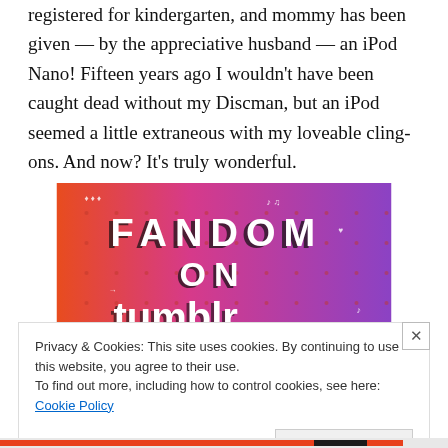registered for kindergarten, and mommy has been given — by the appreciative husband — an iPod Nano! Fifteen years ago I wouldn't have been caught dead without my Discman, but an iPod seemed a little extraneous with my loveable cling-ons. And now? It's truly wonderful.
[Figure (illustration): Fandom on Tumblr promotional image: colorful gradient background (orange to purple) with bold white and black text reading 'FANDOM ON tumblr', decorated with small white doodles of music notes, hearts, skulls, arrows, and other icons.]
Privacy & Cookies: This site uses cookies. By continuing to use this website, you agree to their use.
To find out more, including how to control cookies, see here: Cookie Policy
Close and accept